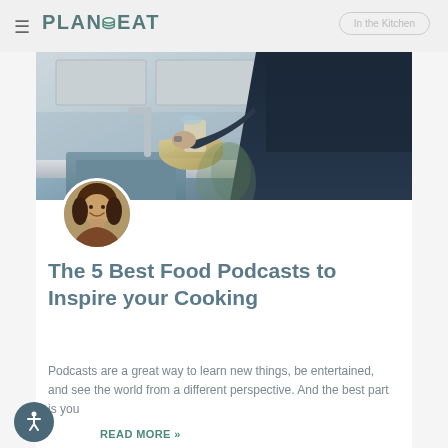Plan to Eat — In the Kitchen
[Figure (photo): Person washing or handling bowls/cups at a kitchen sink, viewed from the side. Dark navy clothing. Kitchen countertop and faucet visible.]
The 5 Best Food Podcasts to Inspire your Cooking
Podcasts are a great way to learn new things, be entertained, and see the world from a different perspective. And the best part is you
READ MORE »